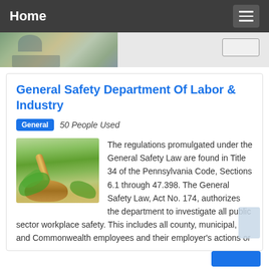Home
[Figure (photo): Hero image strip with a photo of a person writing at a desk with greenery in background, and a small button on the right side]
General Safety Department Of Labor & Industry
General  50 People Used
The regulations promulgated under the General Safety Law are found in Title 34 of the Pennsylvania Code, Sections 6.1 through 47.398. The General Safety Law, Act No. 174, authorizes the department to investigate all public sector workplace safety. This includes all county, municipal, and Commonwealth employees and their employer's actions or